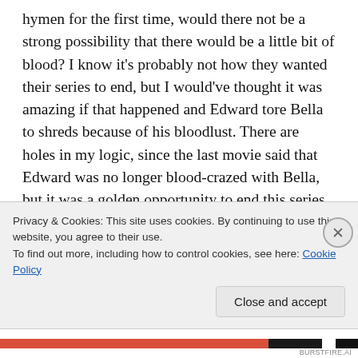hymen for the first time, would there not be a strong possibility that there would be a little bit of blood?  I know it's probably not how they wanted their series to end, but I would've thought it was amazing if that happened and Edward tore Bella to shreds because of his bloodlust. There are holes in my logic, since the last movie said that Edward was no longer blood-crazed with Bella, but it was a golden opportunity to end this series once and for all. Instead of relieving the world of Bella, they make another one, while simultaneously deciding to ignore logic.  I
Privacy & Cookies: This site uses cookies. By continuing to use this website, you agree to their use.
To find out more, including how to control cookies, see here: Cookie Policy